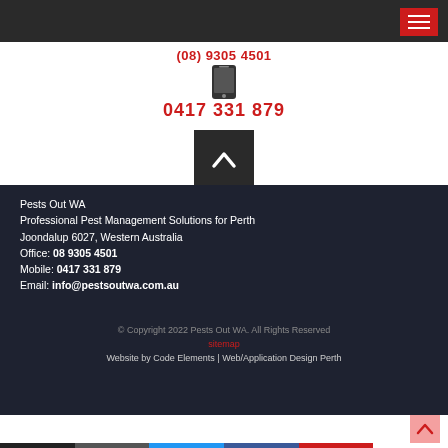(08) 9305 4501
0417 331 879
[Figure (other): Scroll to top button with upward chevron arrow on dark background]
Pests Out WA
Professional Pest Management Solutions for Perth
Joondalup 6027, Western Australia
Office: 08 9305 4501
Mobile: 0417 331 879
Email: info@pestsoutwa.com.au
© Copyright 2022 Pests Out WA. All Rights Reserved
sitemap
Website by Code Elements | Web/Application Design Perth